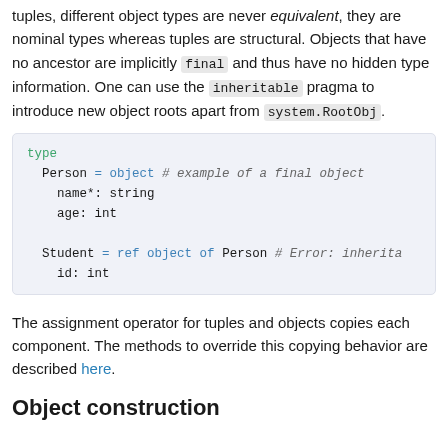tuples, different object types are never equivalent, they are nominal types whereas tuples are structural. Objects that have no ancestor are implicitly final and thus have no hidden type information. One can use the inheritable pragma to introduce new object roots apart from system.RootObj.
[Figure (screenshot): Code block showing type definitions for Person object and Student ref object inheriting from Person, with a comment indicating an inheritance error.]
The assignment operator for tuples and objects copies each component. The methods to override this copying behavior are described here.
Object construction